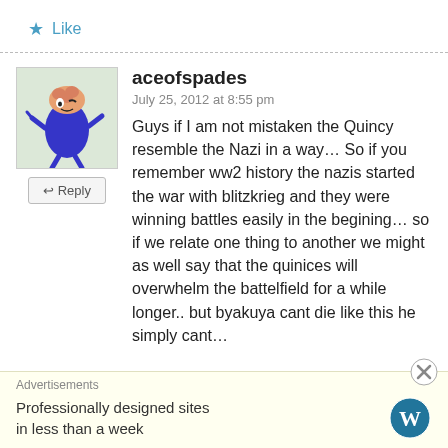Like
aceofspades
July 25, 2012 at 8:55 pm
Guys if I am not mistaken the Quincy resemble the Nazi in a way… So if you remember ww2 history the nazis started the war with blitzkrieg and they were winning battles easily in the begining… so if we relate one thing to another we might as well say that the quinices will overwhelm the battelfield for a while longer.. but byakuya cant die like this he simply cant…
Advertisements
Professionally designed sites in less than a week